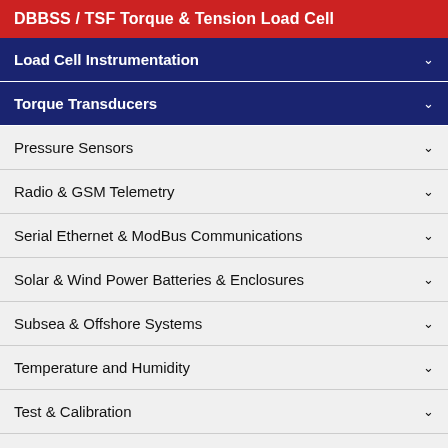DBBSS / TSF Torque & Tension Load Cell
Load Cell Instrumentation
Torque Transducers
Pressure Sensors
Radio & GSM Telemetry
Serial Ethernet & ModBus Communications
Solar & Wind Power Batteries & Enclosures
Subsea & Offshore Systems
Temperature and Humidity
Test & Calibration
Vibration Monitoring